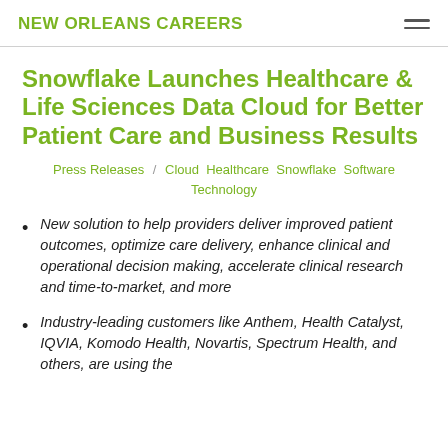NEW ORLEANS CAREERS
Snowflake Launches Healthcare & Life Sciences Data Cloud for Better Patient Care and Business Results
Press Releases / Cloud  Healthcare  Snowflake  Software  Technology
New solution to help providers deliver improved patient outcomes, optimize care delivery, enhance clinical and operational decision making, accelerate clinical research and time-to-market, and more
Industry-leading customers like Anthem, Health Catalyst, IQVIA, Komodo Health, Novartis, Spectrum Health, and others, are using the